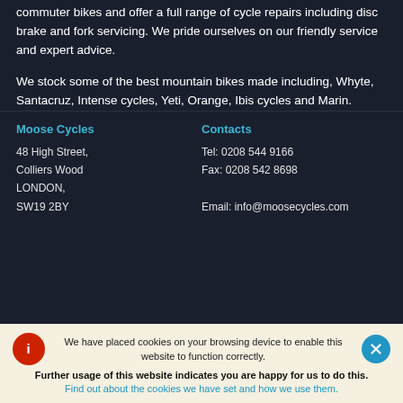commuter bikes and offer a full range of cycle repairs including disc brake and fork servicing. We pride ourselves on our friendly service and expert advice.
We stock some of the best mountain bikes made including, Whyte, Santacruz, Intense cycles, Yeti, Orange, Ibis cycles and Marin.
Moose Cycles
48 High Street,
Colliers Wood
LONDON,
SW19 2BY
Contacts
Tel: 0208 544 9166
Fax: 0208 542 8698
Email: info@moosecycles.com
We have placed cookies on your browsing device to enable this website to function correctly.
Further usage of this website indicates you are happy for us to do this.
Find out about the cookies we have set and how we use them.